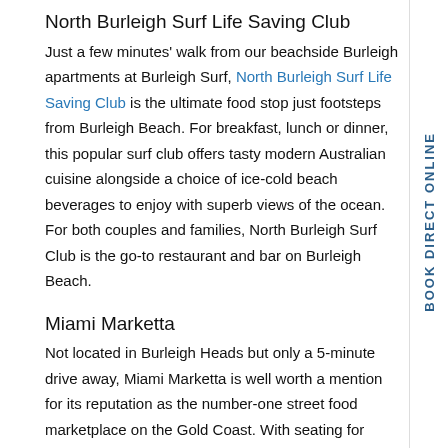North Burleigh Surf Life Saving Club
Just a few minutes' walk from our beachside Burleigh apartments at Burleigh Surf, North Burleigh Surf Life Saving Club is the ultimate food stop just footsteps from Burleigh Beach. For breakfast, lunch or dinner, this popular surf club offers tasty modern Australian cuisine alongside a choice of ice-cold beach beverages to enjoy with superb views of the ocean. For both couples and families, North Burleigh Surf Club is the go-to restaurant and bar on Burleigh Beach.
Miami Marketta
Not located in Burleigh Heads but only a 5-minute drive away, Miami Marketta is well worth a mention for its reputation as the number-one street food marketplace on the Gold Coast. With seating for more than 600 people, regular live music and over 25 food vendors to pick from – each offering a range of street
BOOK DIRECT ONLINE